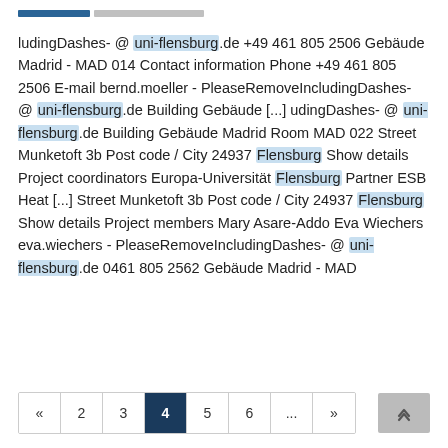ludingDashes- @ uni-flensburg.de +49 461 805 2506 Gebäude Madrid - MAD 014 Contact information Phone +49 461 805 2506 E-mail bernd.moeller - PleaseRemoveIncludingDashes- @ uni-flensburg.de Building Gebäude [...] udingDashes- @ uni-flensburg.de Building Gebäude Madrid Room MAD 022 Street Munketoft 3b Post code / City 24937 Flensburg Show details Project coordinators Europa-Universität Flensburg Partner ESB Heat [...] Street Munketoft 3b Post code / City 24937 Flensburg Show details Project members Mary Asare-Addo Eva Wiechers eva.wiechers - PleaseRemoveIncludingDashes- @ uni-flensburg.de 0461 805 2562 Gebäude Madrid - MAD
« 2 3 4 5 6 ... »